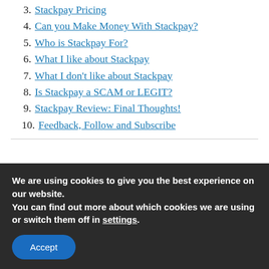3. Stackpay Pricing
4. Can you Make Money With Stackpay?
5. Who is Stackpay For?
6. What I like about Stackpay
7. What I don't like about Stackpay
8. Is Stackpay a SCAM or LEGIT?
9. Stackpay Review: Final Thoughts!
10. Feedback, Follow and Subscribe
We are using cookies to give you the best experience on our website.
You can find out more about which cookies we are using or switch them off in settings.